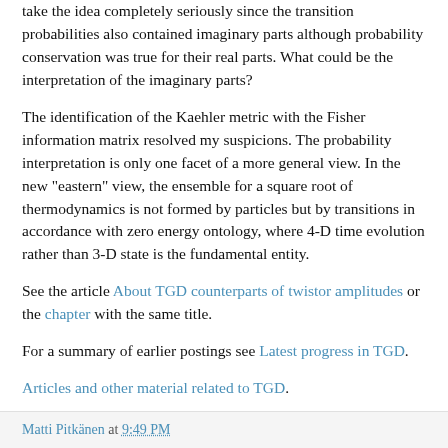take the idea completely seriously since the transition probabilities also contained imaginary parts although probability conservation was true for their real parts. What could be the interpretation of the imaginary parts?
The identification of the Kaehler metric with the Fisher information matrix resolved my suspicions. The probability interpretation is only one facet of a more general view. In the new "eastern" view, the ensemble for a square root of thermodynamics is not formed by particles but by transitions in accordance with zero energy ontology, where 4-D time evolution rather than 3-D state is the fundamental entity.
See the article About TGD counterparts of twistor amplitudes or the chapter with the same title.
For a summary of earlier postings see Latest progress in TGD.
Articles and other material related to TGD.
Matti Pitkänen at 9:49 PM